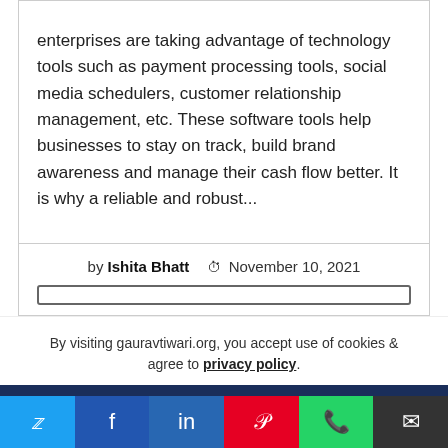enterprises are taking advantage of technology tools such as payment processing tools, social media schedulers, customer relationship management, etc. These software tools help businesses to stay on track, build brand awareness and manage their cash flow better. It is why a reliable and robust...
by Ishita Bhatt  © November 10, 2021
By visiting gauravtiwari.org, you accept use of cookies & agree to privacy policy.
[Figure (infographic): Social sharing bar with Twitter, Facebook, LinkedIn, Pinterest, WhatsApp, and email icons]